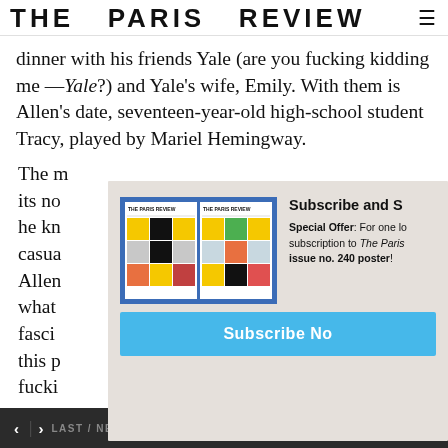THE PARIS REVIEW
dinner with his friends Yale (are you fucking kidding me —Yale?) and Yale's wife, Emily. With them is Allen's date, seventeen-year-old high-school student Tracy, played by Mariel Hemingway.
The [partially obscured by popup] its no he kn casua Allen what fasci this p fucki one of our greatest observers of contemporary ethics—
[Figure (screenshot): Subscribe and Save popup overlay showing two Paris Review magazine covers and a subscribe button. Text reads: Subscribe and S[ave], Special Offer: For one l[ow price get a] subscription to The Paris [Review and an] issue no. 240 poster!, Subscribe No[w]]
< > LAST / NEXT ARTICLE    SHARE